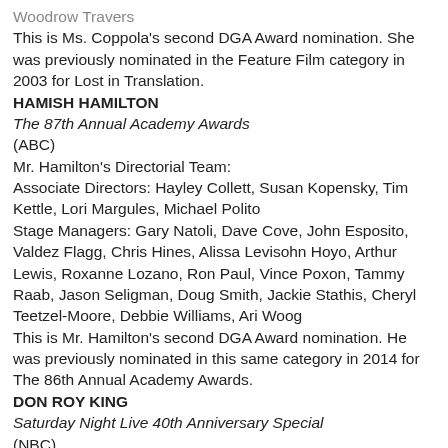Woodrow Travers
This is Ms. Coppola's second DGA Award nomination. She was previously nominated in the Feature Film category in 2003 for Lost in Translation.
HAMISH HAMILTON
The 87th Annual Academy Awards
(ABC)
Mr. Hamilton's Directorial Team:
Associate Directors: Hayley Collett, Susan Kopensky, Tim Kettle, Lori Margules, Michael Polito
Stage Managers: Gary Natoli, Dave Cove, John Esposito, Valdez Flagg, Chris Hines, Alissa Levisohn Hoyo, Arthur Lewis, Roxanne Lozano, Ron Paul, Vince Poxon, Tammy Raab, Jason Seligman, Doug Smith, Jackie Stathis, Cheryl Teetzel-Moore, Debbie Williams, Ari Woog
This is Mr. Hamilton's second DGA Award nomination. He was previously nominated in this same category in 2014 for The 86th Annual Academy Awards.
DON ROY KING
Saturday Night Live 40th Anniversary Special
(NBC)
Mr. King's Directorial Team: